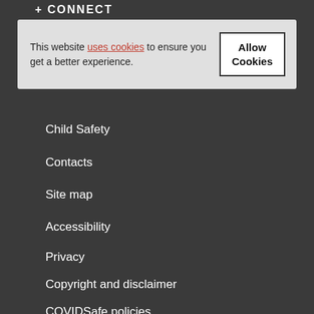+ CONNECT
This website uses cookies to ensure you get a better experience.
Allow Cookies
Child Safety
Contacts
Site map
Accessibility
Privacy
Copyright and disclaimer
COVIDSafe policies
Last edited: 30 Aug 2022
Site authorised by: DVC (Global & Regional)
Email: communication@latrobe.edu.au
© Copyright 2022 La Trobe University. All rights reserved. La Trobe University CRICOS Provider Code Number 00115M